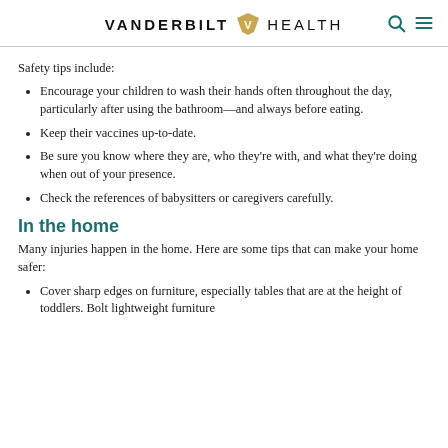VANDERBILT HEALTH
Safety tips include:
Encourage your children to wash their hands often throughout the day, particularly after using the bathroom—and always before eating.
Keep their vaccines up-to-date.
Be sure you know where they are, who they're with, and what they're doing when out of your presence.
Check the references of babysitters or caregivers carefully.
In the home
Many injuries happen in the home. Here are some tips that can make your home safer:
Cover sharp edges on furniture, especially tables that are at the height of toddlers. Bolt lightweight furniture